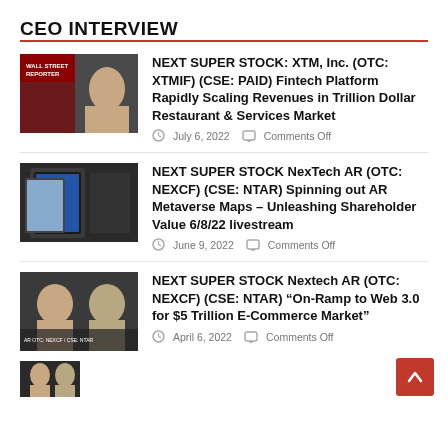CEO INTERVIEW
[Figure (photo): Thumbnail image for Wall Street Reporter CEO interview article 1]
NEXT SUPER STOCK: XTM, Inc. (OTC: XTMIF) (CSE: PAID) Fintech Platform Rapidly Scaling Revenues in Trillion Dollar Restaurant & Services Market
July 6, 2022   Comments Off
[Figure (photo): Thumbnail image for NexTech AR CEO interview article 2]
NEXT SUPER STOCK NexTech AR (OTC: NEXCF) (CSE: NTAR) Spinning out AR Metaverse Maps – Unleashing Shareholder Value 6/8/22 livestream
June 9, 2022   Comments Off
[Figure (photo): Thumbnail image for Nextech AR CEO interview article 3]
NEXT SUPER STOCK Nextech AR (OTC: NEXCF) (CSE: NTAR) “On-Ramp to Web 3.0 for $5 Trillion E-Commerce Market”
April 6, 2022   Comments Off
[Figure (photo): Partial thumbnail image at bottom of page]